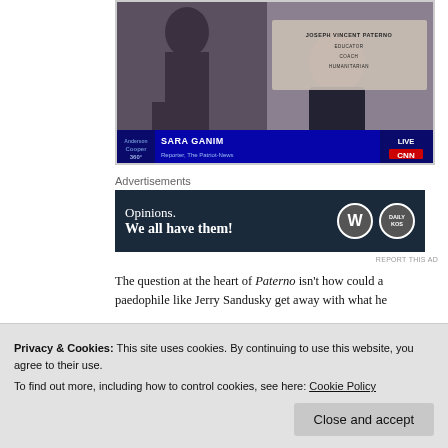[Figure (screenshot): CNN news screenshot showing a reporter (Sara Ganim, Reporter, The Patriot-News) standing in front of a bronze statue with a plaque reading 'JOSEPH VINCENT PATERNO EDUCATOR COACH HUMANITARIAN', shown as a live report on Anderson Cooper 360.]
Advertisements
[Figure (other): Advertisement banner with dark blue background reading 'Opinions. We all have them!' with WordPress and Daily Kos logos.]
REPORT THIS AD
The question at the heart of Paterno isn't how could a paedophile like Jerry Sandusky get away with what he
Privacy & Cookies: This site uses cookies. By continuing to use this website, you agree to their use.
To find out more, including how to control cookies, see here: Cookie Policy
Close and accept